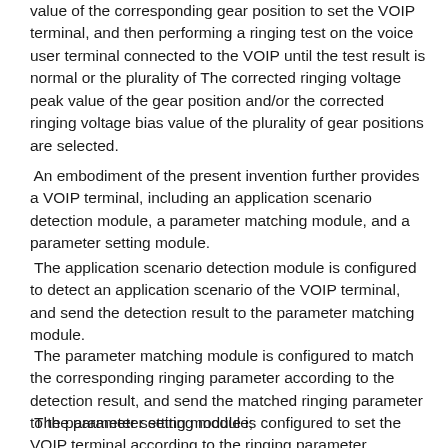value of the corresponding gear position to set the VOIP terminal, and then performing a ringing test on the voice user terminal connected to the VOIP until the test result is normal or the plurality of The corrected ringing voltage peak value of the gear position and/or the corrected ringing voltage bias value of the plurality of gear positions are selected.
An embodiment of the present invention further provides a VOIP terminal, including an application scenario detection module, a parameter matching module, and a parameter setting module.
The application scenario detection module is configured to detect an application scenario of the VOIP terminal, and send the detection result to the parameter matching module.
The parameter matching module is configured to match the corresponding ringing parameter according to the detection result, and send the matched ringing parameter to the parameter setting module;
The parameter setting module is configured to set the VOIP terminal according to the ringing parameter